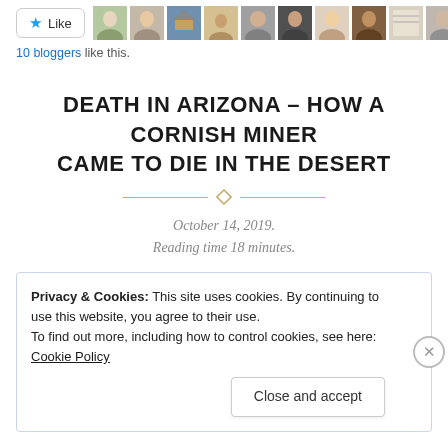[Figure (screenshot): Like button with star icon and avatars of 10 bloggers who liked the post]
10 bloggers like this.
DEATH IN ARIZONA – HOW A CORNISH MINER CAME TO DIE IN THE DESERT
October 14, 2019. Reading time 18 minutes.
Privacy & Cookies: This site uses cookies. By continuing to use this website, you agree to their use. To find out more, including how to control cookies, see here: Cookie Policy. Close and accept.